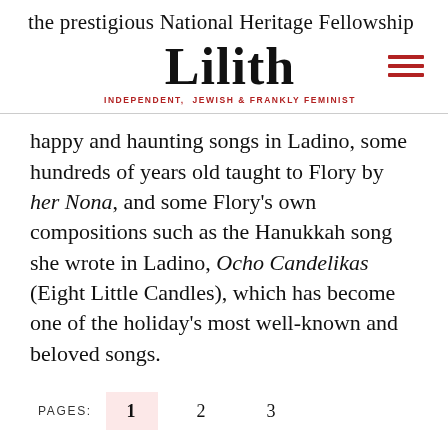the prestigious National Heritage Fellowship
Lilith
INDEPENDENT, JEWISH & FRANKLY FEMINIST
happy and haunting songs in Ladino, some hundreds of years old taught to Flory by her Nona, and some Flory’s own compositions such as the Hanukkah song she wrote in Ladino, Ocho Candelikas (Eight Little Candles), which has become one of the holiday’s most well-known and beloved songs.
PAGES: 1 2 3